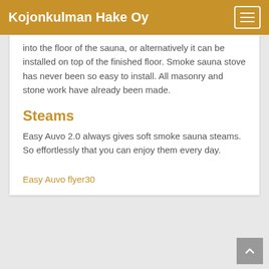Kojonkulman Hake Oy
into the floor of the sauna, or alternatively it can be installed on top of the finished floor. Smoke sauna stove has never been so easy to install. All masonry and stone work have already been made.
Steams
Easy Auvo 2.0 always gives soft smoke sauna steams. So effortlessly that you can enjoy them every day.
Easy Auvo flyer30